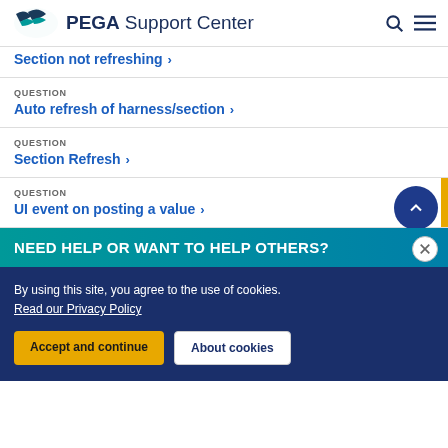PEGA Support Center
Section not refreshing
QUESTION
Auto refresh of harness/section
QUESTION
Section Refresh
QUESTION
UI event on posting a value
NEED HELP OR WANT TO HELP OTHERS?
By using this site, you agree to the use of cookies.
Read our Privacy Policy
Accept and continue
About cookies